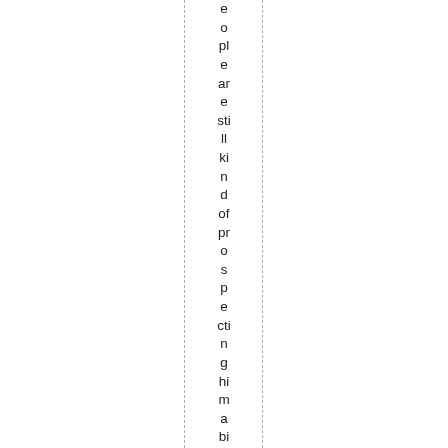eople are still kind of prospecting him a bit. Maybe